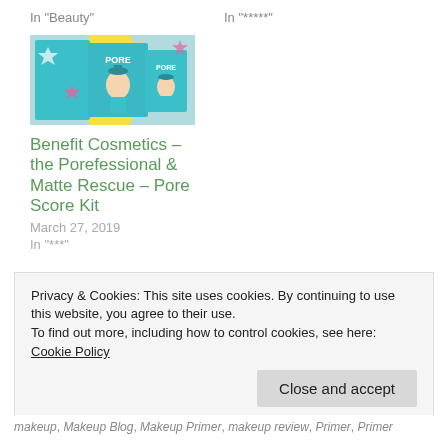In "Beauty"
In "*****"
[Figure (photo): Photo of Benefit Cosmetics Porefessional & Matte Rescue Pore Score Kit product packaging with colourful pop-art style box]
Benefit Cosmetics – the Porefessional & Matte Rescue – Pore Score Kit
March 27, 2019
In "***"
Privacy & Cookies: This site uses cookies. By continuing to use this website, you agree to their use.
To find out more, including how to control cookies, see here: Cookie Policy
Close and accept
makeup, Makeup Blog, Makeup Primer, makeup review, Primer, Primer